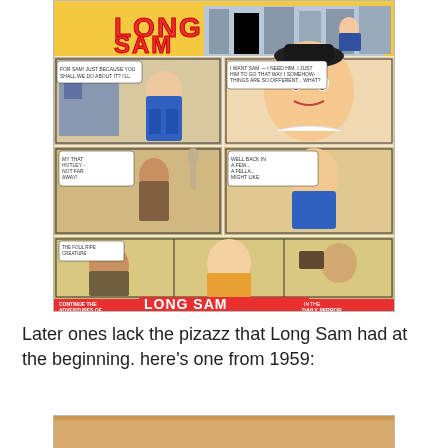[Figure (illustration): A vintage Long Sam comic strip page showing multiple panels. The strip features a woman character in a blue dress in various scenes on a city street. The title 'LONG SAM' appears at the top in yellow letters and at the bottom in a red banner that reads 'LONG SAM IN THE DAILY MIRROR'. The comic has colorful panels with speech bubbles and action scenes.]
Later ones lack the pizazz that Long Sam had at the beginning. here's one from 1959:
[Figure (illustration): Bottom portion of a second Long Sam comic strip from 1959, partially visible, showing orange/tan coloring.]